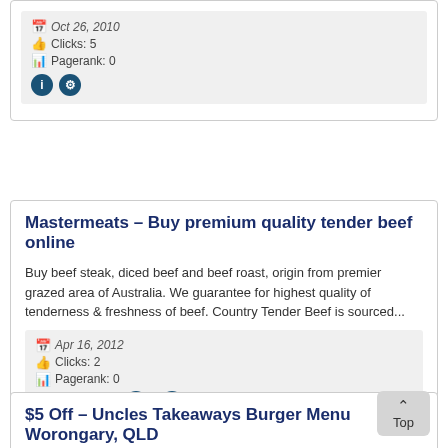Oct 26, 2010 | Clicks: 5 | Pagerank: 0
Mastermeats – Buy premium quality tender beef online
Buy beef steak, diced beef and beef roast, origin from premier grazed area of Australia. We guarantee for highest quality of tenderness & freshness of beef. Country Tender Beef is sourced...
Apr 16, 2012 | Clicks: 2 | Pagerank: 0 | Find on map
$5 Off – Uncles Takeaways Burger Menu Worongary, QLD